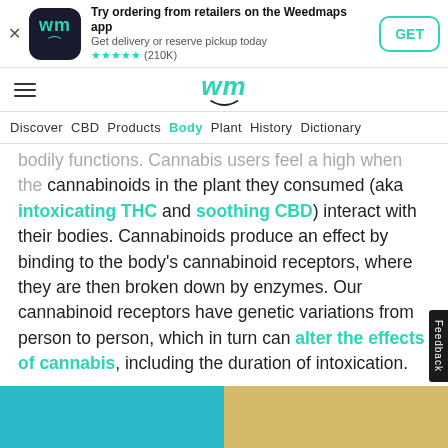[Figure (screenshot): Weedmaps app download banner with app icon, title, subtitle, star rating (210K reviews), and GET button]
wm (Weedmaps logo with hamburger menu)
Discover  CBD  Products  Body  Plant  History  Dictionary
bodily functions. Cannabis users feel a high when the cannabinoids in the plant they consumed (aka intoxicating THC and soothing CBD) interact with their bodies. Cannabinoids produce an effect by binding to the body's cannabinoid receptors, where they are then broken down by enzymes. Our cannabinoid receptors have genetic variations from person to person, which in turn can alter the effects of cannabis, including the duration of intoxication.
[Figure (illustration): Two-color horizontal image strip: teal/cyan on left, gold/yellow on right, partially visible at bottom of page]